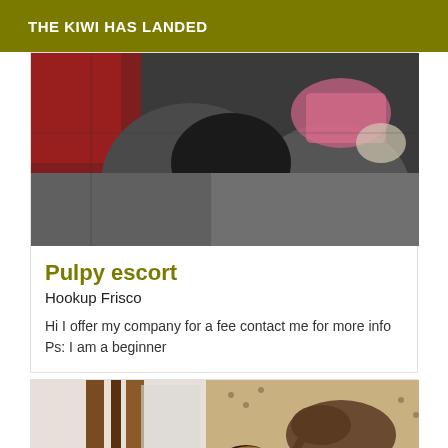THE KIWI HAS LANDED
[Figure (photo): Close-up photograph showing a person's lower body in dark gray leggings/tights with red fabric and pink clothing visible]
Pulpy escort
Hookup Frisco
Hi I offer my company for a fee contact me for more info
Ps: I am a beginner
[Figure (photo): Partial photo showing a person near a wooden mirror/frame with an African elephant tapestry in the background]